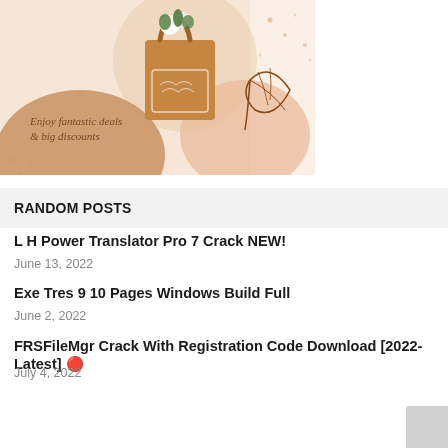[Figure (illustration): Promotional banner with brown tote bag containing flowers and decorative leaves on peach/brown background with text 'Enjoy fantastic deals & big discounts']
RANDOM POSTS
L H Power Translator Pro 7 Crack NEW!
June 13, 2022
Exe Tres 9 10 Pages Windows Build Full
June 2, 2022
FRSFileMgr Crack With Registration Code Download [2022-Latest] 🔴
July 4, 2022